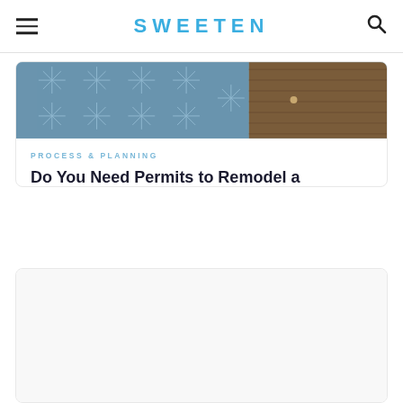SWEETEN
[Figure (photo): Bathroom interior photo showing decorative blue star-pattern floor tiles and a wooden vanity]
PROCESS & PLANNING
Do You Need Permits to Remodel a Bathroom?
advice, checklist, project management
[Figure (photo): Second article card image area (blank/loading)]